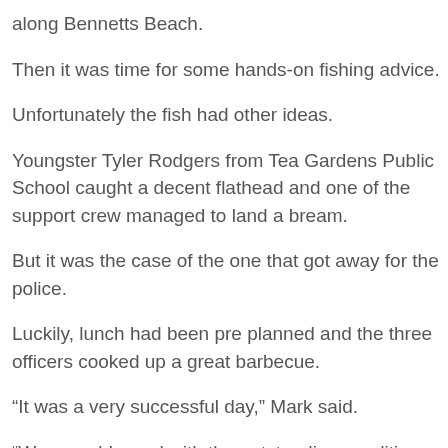along Bennetts Beach.
Then it was time for some hands-on fishing advice.
Unfortunately the fish had other ideas.
Youngster Tyler Rodgers from Tea Gardens Public School caught a decent flathead and one of the support crew managed to land a bream.
But it was the case of the one that got away for the police.
Luckily, lunch had been pre planned and the three officers cooked up a great barbecue.
“It was a very successful day,” Mark said.
“We were blessed with the outstanding conditions, sun